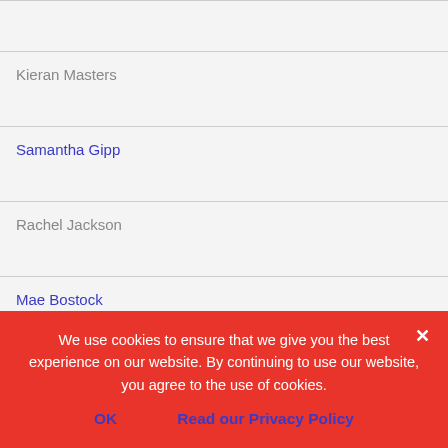Kieran Masters
Samantha Gipp
Rachel Jackson
Mae Bostock
Hannah Niven
We use cookies to ensure that we give you the best experience on our website. By continuing to use our website, you agree to the use of cookies.

OK    Read our Privacy Policy